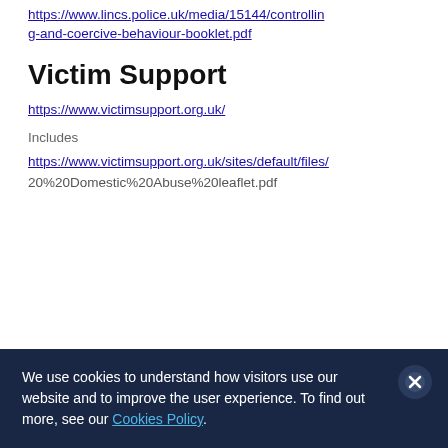https://www.lincs.police.uk/media/15144/controlling-and-coercive-behaviour-booklet.pdf
Victim Support
https://www.victimsupport.org.uk/
Includes
https://www.victimsupport.org.uk/sites/default/files/
We use cookies to understand how visitors use our website and to improve the user experience. To find out more, see our Cookies Policy.